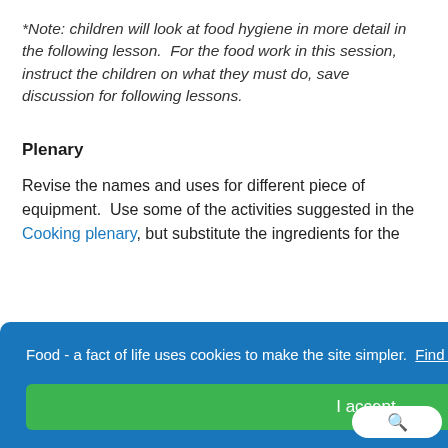*Note: children will look at food hygiene in more detail in the following lesson.  For the food work in this session, instruct the children on what they must do, save discussion for following lessons.
Plenary
Revise the names and uses for different piece of equipment.  Use some of the activities suggested in the Cooking plenary, but substitute the ingredients for the
Food - a fact of life uses cookies to make the site simpler.  Find out more about cookies
I accept